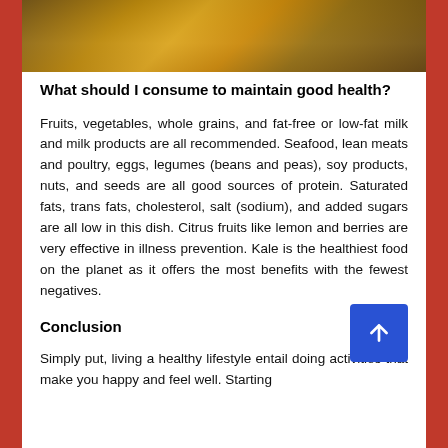[Figure (photo): Outdoor photo of a person in a field with warm golden light]
What should I consume to maintain good health?
Fruits, vegetables, whole grains, and fat-free or low-fat milk and milk products are all recommended. Seafood, lean meats and poultry, eggs, legumes (beans and peas), soy products, nuts, and seeds are all good sources of protein. Saturated fats, trans fats, cholesterol, salt (sodium), and added sugars are all low in this dish. Citrus fruits like lemon and berries are very effective in illness prevention. Kale is the healthiest food on the planet as it offers the most benefits with the fewest negatives.
Conclusion
Simply put, living a healthy lifestyle entail doing activities that make you happy and feel well. Starting